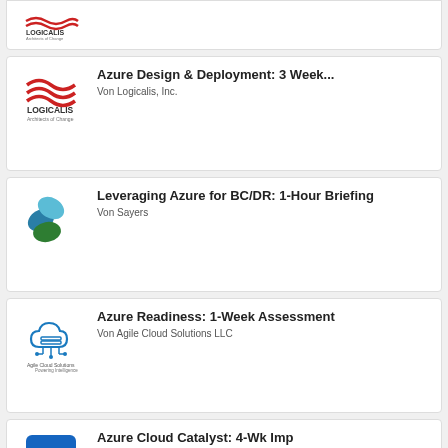[Figure (logo): Logicalis Architects of Change logo - partial card at top]
[Figure (logo): Logicalis Architects of Change logo]
Azure Design & Deployment: 3 Week...
Von Logicalis, Inc.
[Figure (logo): Sayers logo - teal and green leaf/clover shape]
Leveraging Azure for BC/DR: 1-Hour Briefing
Von Sayers
[Figure (logo): Agile Cloud Solutions LLC logo - cloud with circuit board]
Azure Readiness: 1-Week Assessment
Von Agile Cloud Solutions LLC
[Figure (logo): Datacom Systems (AU) Pty Ltd logo - blue square with D]
Azure Cloud Catalyst: 4-Wk Imp
Von Datacom Systems (AU) Pty Ltd